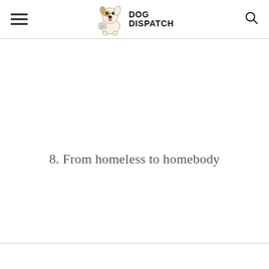DOG DISPATCH
8. From homeless to homebody